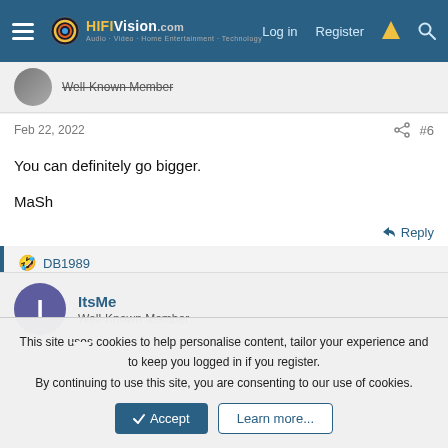HiFiVision.com — Log in | Register
Well-Known Member
Feb 22, 2022 #6
You can definitely go bigger.

MaSh
Reply
🤣 DB1989
ItsMe
Well-Known Member
This site uses cookies to help personalise content, tailor your experience and to keep you logged in if you register.
By continuing to use this site, you are consenting to our use of cookies.